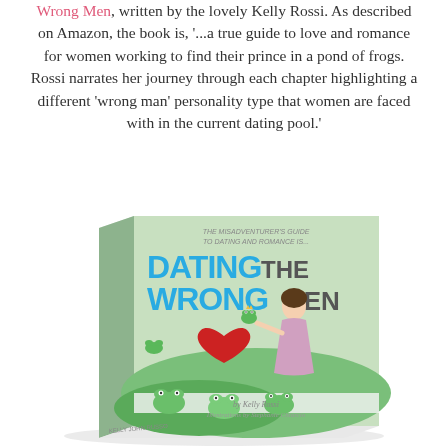Wrong Men, written by the lovely Kelly Rossi. As described on Amazon, the book is, '...a true guide to love and romance for women working to find their prince in a pond of frogs. Rossi narrates her journey through each chapter highlighting a different 'wrong man' personality type that women are faced with in the current dating pool.'
[Figure (photo): Book cover of 'Dating the Wrong Men' by Kelly Rossi, illustrated by Stephanie Chiarcio. The cover shows a cartoon woman in a pink dress holding a frog prince, surrounded by frogs on a green lily pad background. The title is displayed in large blue and grey text.]